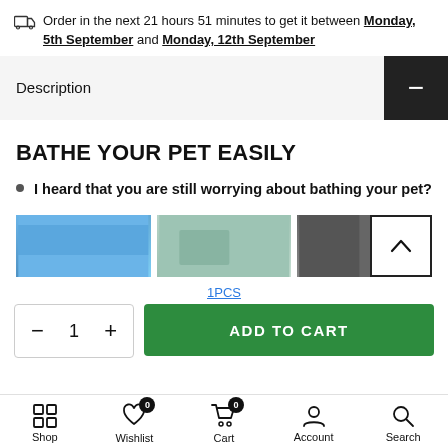Order in the next 21 hours 51 minutes to get it between Monday, 5th September and Monday, 12th September
Description
BATHE YOUR PET EASILY
I heard that you are still worrying about bathing your pet?
1PCS
- 1 + ADD TO CART
Shop  Wishlist  Cart  Account  Search